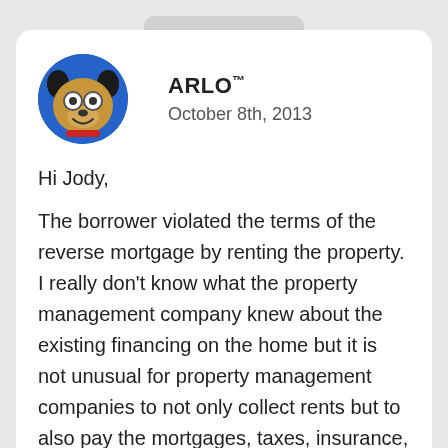[Figure (illustration): Circular avatar of ARLO mascot — a cartoon dog with glasses, brown fur, red collar, on a blue background]
ARLO™
October 8th, 2013
Hi Jody,
The borrower violated the terms of the reverse mortgage by renting the property. I really don't know what the property management company knew about the existing financing on the home but it is not unusual for property management companies to not only collect rents but to also pay the mortgages, taxes, insurance, etc. I don't